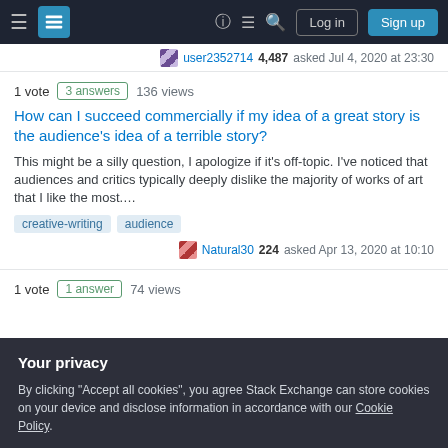Stack Exchange navigation bar with Log in and Sign up buttons
user2352714 4,487 asked Jul 4, 2020 at 23:30
1 vote  3 answers  136 views
How can I succeed commercially if my idea of a great story is the audience's idea of a terrible story?
This might be a silly question, I apologize if it's off-topic. I've noticed that audiences and critics typically deeply dislike the majority of works of art that I like the most....
creative-writing
audience
Natural30 224 asked Apr 13, 2020 at 10:10
1 vote  1 answer  74 views
Your privacy
By clicking "Accept all cookies", you agree Stack Exchange can store cookies on your device and disclose information in accordance with our Cookie Policy.